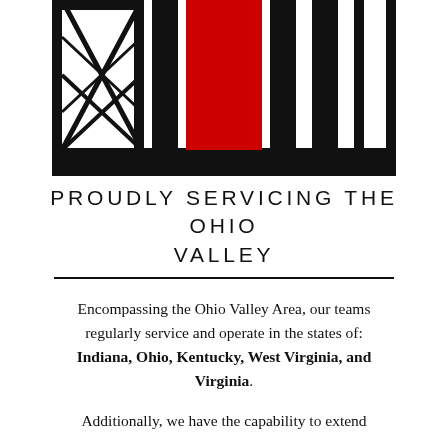[Figure (logo): Company logo with black lattice/truss structure on left, black and red vertical bars in center and right, with black horizontal base bar — industrial/engineering style logo in red and black.]
PROUDLY SERVICING THE OHIO VALLEY
Encompassing the Ohio Valley Area, our teams regularly service and operate in the states of: Indiana, Ohio, Kentucky, West Virginia, and Virginia. Additionally, we have the capability to extend
Additionally, we have the capability to extend